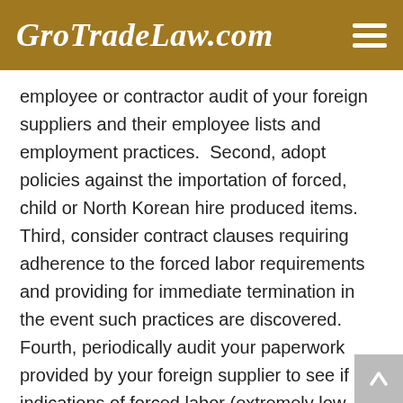GroTradeLaw.com
employee or contractor audit of your foreign suppliers and their employee lists and employment practices.  Second, adopt policies against the importation of forced, child or North Korean hire produced items.  Third, consider contract clauses requiring adherence to the forced labor requirements and providing for immediate termination in the event such practices are discovered. Fourth, periodically audit your paperwork provided by your foreign supplier to see if any indications of forced labor (extremely low hourly rates, very long factory hours, etc.) are evident.  Fifth, and finally, be in touch with your representative at your Center for Excellence and Expertise so that, in the event of an import seizure and detention, you can get your case to CBP much faster and more